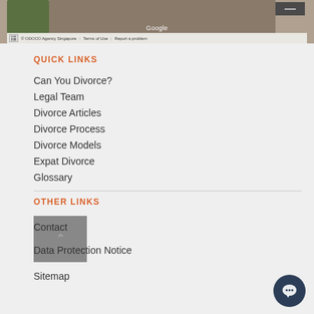[Figure (screenshot): Google Maps strip showing a street view image with Google branding, map controls, and footer bar with ODOCO Agency Singapore, Terms of Use, and Report a problem links]
QUICK LINKS
Can You Divorce?
Legal Team
Divorce Articles
Divorce Process
Divorce Models
Expat Divorce
Glossary
OTHER LINKS
Contact
Data Protection Notice
Sitemap